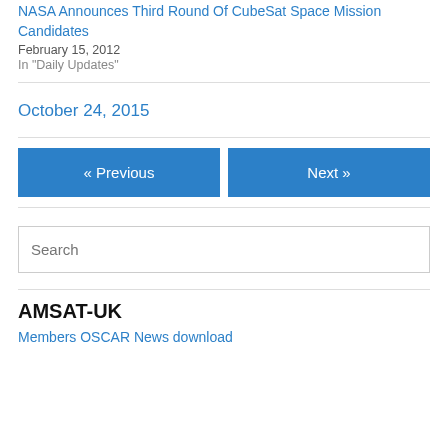NASA Announces Third Round Of CubeSat Space Mission Candidates
February 15, 2012
In "Daily Updates"
October 24, 2015
« Previous
Next »
Search
AMSAT-UK
Members OSCAR News download